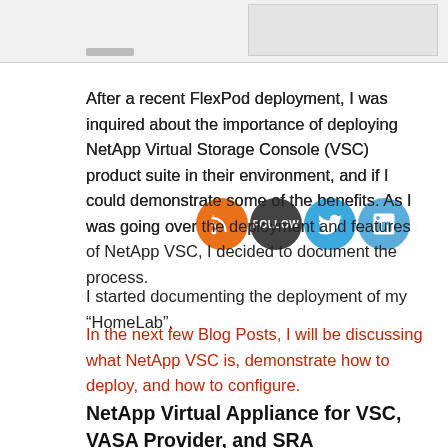[Figure (screenshot): Top portion of a webpage screenshot showing a grey/white header area]
After a recent FlexPod deployment, I was inquired about the importance of deploying NetApp Virtual Storage Console (VSC) product suite in their environment, and if I could demonstrate some of the benefits. As I was going over the deployment and features of NetApp VSC, I decided to document the process.
I started documenting the deployment of my “HomeLab”.
In the next few Blog Posts, I will be discussing what NetApp VSC is, demonstrate how to deploy, and how to configure.
NetApp Virtual Appliance for VSC, VASA Provider, and SRA